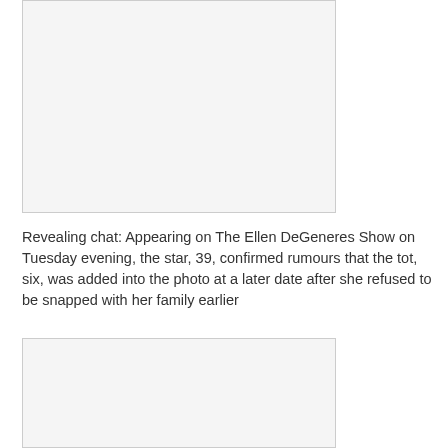[Figure (photo): Large image placeholder, top portion of page, light grey background with border]
Revealing chat: Appearing on The Ellen DeGeneres Show on Tuesday evening, the star, 39, confirmed rumours that the tot, six, was added into the photo at a later date after she refused to be snapped with her family earlier
[Figure (photo): Large image placeholder, bottom portion of page, light grey background with border]